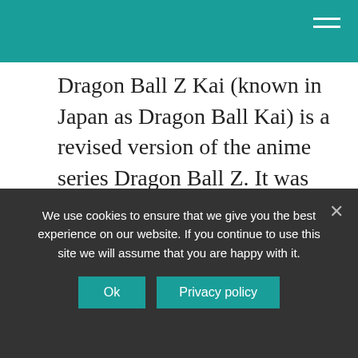Dragon Ball Z Kai (known in Japan as Dragon Ball Kai) is a revised version of the anime series Dragon Ball Z. It was produced in commemoration of the original series’ 20th and 25th anniversaries. Produced by Toei Animation, the series was broadcast in Japan on Fuji TV from April 5, 2009 to March 27, 2011.
What does DBZ Kai stand for?
We use cookies to ensure that we give you the best experience on our website. If you continue to use this site we will assume that you are happy with it.